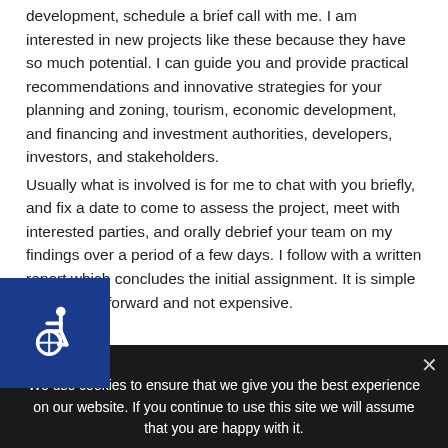development, schedule a brief call with me. I am interested in new projects like these because they have so much potential. I can guide you and provide practical recommendations and innovative strategies for your planning and zoning, tourism, economic development, and financing and investment authorities, developers, investors, and stakeholders.

Usually what is involved is for me to chat with you briefly, and fix a date to come to assess the project, meet with interested parties, and orally debrief your team on my findings over a period of a few days. I follow with a written report which concludes the initial assignment. It is simple and straightforward and not expensive.
[Figure (illustration): Blue square accessibility widget icon with wheelchair symbol in white]
We use cookies to ensure that we give you the best experience on our website. If you continue to use this site we will assume that you are happy with it.
Ok   Read more